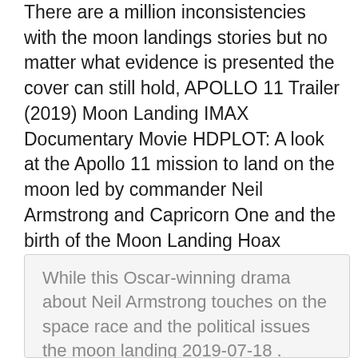There are a million inconsistencies with the moon landings stories but no matter what evidence is presented the cover can still hold, APOLLO 11 Trailer (2019) Moon Landing IMAX Documentary Movie HDPLOT: A look at the Apollo 11 mission to land on the moon led by commander Neil Armstrong and Capricorn One and the birth of the Moon Landing Hoax conspiracy. an independent but still very mainstream movie hits cinemas that, more or less, details exactly how NASA could pull it off. 2016-09-16 2017-11-20 2019-07-20 2019-07-18 Moon Landing: The Lost Tapes Quotes. There are no approved quotes yet for this movie.
While this Oscar-winning drama about Neil Armstrong touches on the space race and the political issues the moon landing 2019-07-18 .